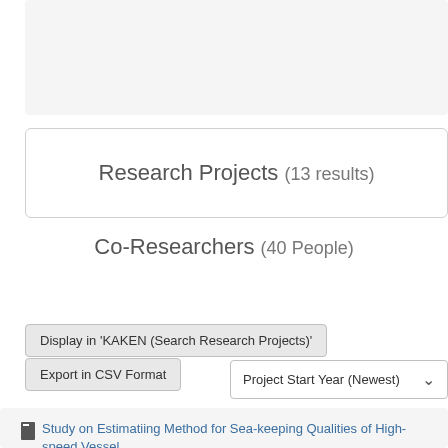[Figure (screenshot): Gray box at top representing a search/filter UI section (cropped)]
Research Projects (13 results)
Co-Researchers (40 People)
Display in 'KAKEN (Search Research Projects)'
Export in CSV Format
Project Start Year (Newest)
Study on Estimatiing Method for Sea-keeping Qualities of High-speed Vessel